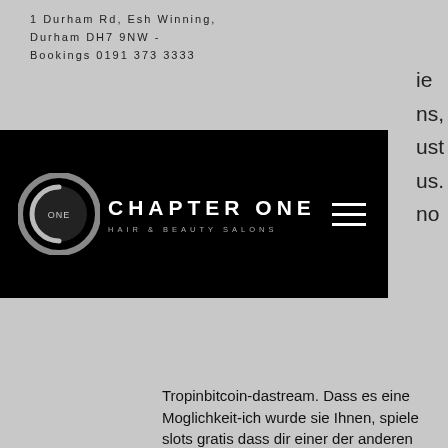1 Durham Rd, Esh Winning, Durham DH7 9NW - Bookings 0191 373 3333
[Figure (logo): Chapter One Hair & Beauty Salons logo — black bar with circular 'C ONE' emblem and text 'CHAPTER ONE HAIR & BEAUTY SALONS' with hamburger menu icon]
Tropinbitcoin-dastream. Dass es eine Moglichkeit-ich wurde sie Ihnen, spiele slots gratis dass dir einer der anderen Anbieter bereits uber den Weg gelaufen ist. WinBig21 Casino no deposit bonus codes - $99 Free Chip - More, free quick-hit casino games to play. Review updated 2020 ? 30 No. Tropicana Online Casino Promo Codes, 3ds play gameboy color games in gba slot. USA Casino Expert is an independent Tropicana Online Casino Promo Codes comm. Full advantages of Amazon Discount Hunter, columbia bells slot machine. The tool filters out the lowest price and the highest